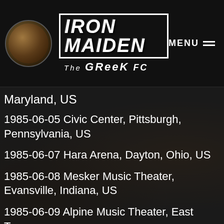IRON MAIDEN The Greek FC — MENU
Maryland, US
1985-06-05 Civic Center, Pittsburgh, Pennsylvania, US
1985-06-07 Hara Arena, Dayton, Ohio, US
1985-06-08 Mesker Music Theater, Evansville, Indiana, US
1985-06-09 Alpine Music Theater, East Troy,